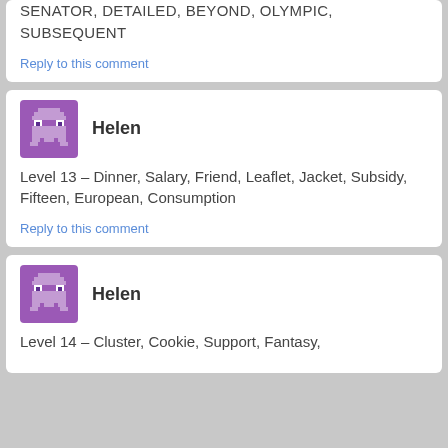SENATOR, DETAILED, BEYOND, OLYMPIC, SUBSEQUENT
Reply to this comment
Helen
Level 13 – Dinner, Salary, Friend, Leaflet, Jacket, Subsidy, Fifteen, European, Consumption
Reply to this comment
Helen
Level 14 – Cluster, Cookie, Support, Fantasy,